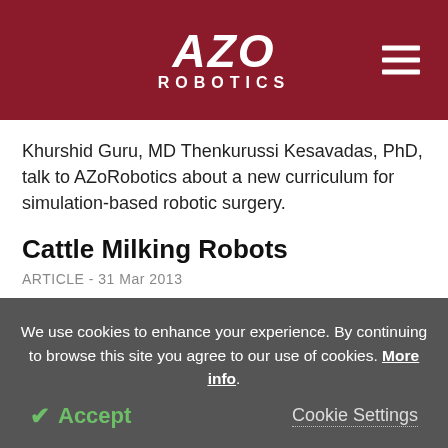AZO ROBOTICS
Khurshid Guru, MD Thenkurussi Kesavadas, PhD, talk to AZoRobotics about a new curriculum for simulation-based robotic surgery.
Cattle Milking Robots
ARTICLE - 31 Mar 2013
Automatic milking is the process of milking of diary cattles without the need for a human labor. The milking process generally involves a
We use cookies to enhance your experience. By continuing to browse this site you agree to our use of cookies. More info.
Accept
Cookie Settings